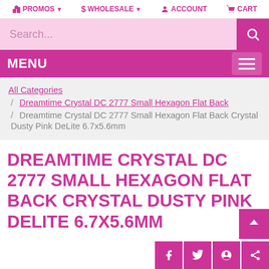PROMOS  WHOLESALE  ACCOUNT  CART
Search...
MENU
All Categories / Dreamtime Crystal DC 2777 Small Hexagon Flat Back / Dreamtime Crystal DC 2777 Small Hexagon Flat Back Crystal Dusty Pink DeLite 6.7x5.6mm
DREAMTIME CRYSTAL DC 2777 SMALL HEXAGON FLAT BACK CRYSTAL DUSTY PINK DELITE 6.7X5.6MM